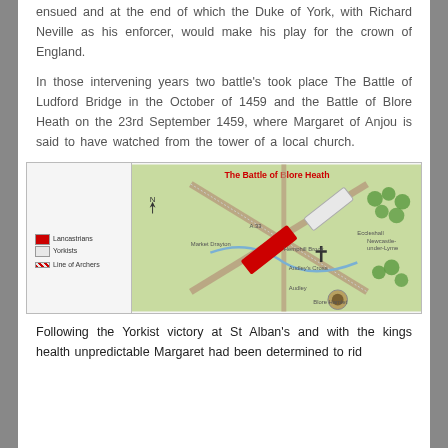ensued and at the end of which the Duke of York, with Richard Neville as his enforcer, would make his play for the crown of England.
In those intervening years two battle's took place The Battle of Ludford Bridge in the October of 1459 and the Battle of Blore Heath on the 23rd September 1459, where Margaret of Anjou is said to have watched from the tower of a local church.
[Figure (map): A map showing The Battle of Blore Heath, depicting troop positions including Lancastrians (red), Yorkists (white), and line of archers, along with roads, Hemphill Brook, Audley's Cross, and Blore Hamlet. A north arrow and legend are included.]
Following the Yorkist victory at St Alban's and with the kings health unpredictable Margaret had been determined to rid